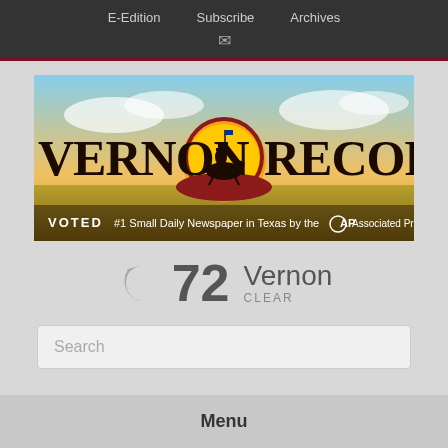E-Edition  Subscribe  Archives
[Figure (logo): Vernon Record newspaper banner logo with cowboy on horseback at sunset, text reads VOTED #1 Small Daily Newspaper in Texas by the Associated Press]
72  Vernon  CLEAR
Search
Menu